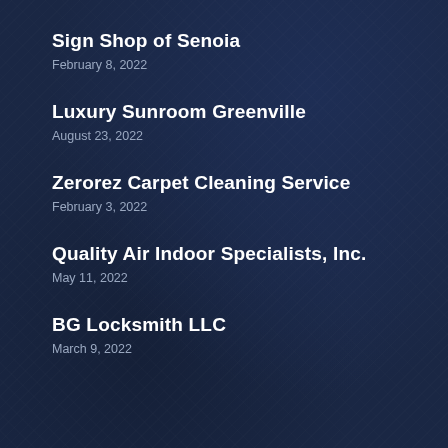Sign Shop of Senoia
February 8, 2022
Luxury Sunroom Greenville
August 23, 2022
Zerorez Carpet Cleaning Service
February 3, 2022
Quality Air Indoor Specialists, Inc.
May 11, 2022
BG Locksmith LLC
March 9, 2022